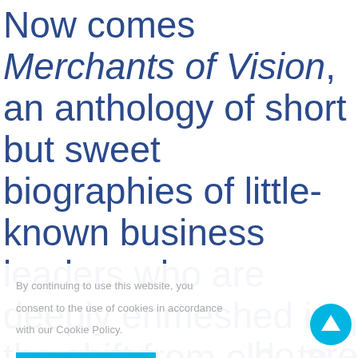Now comes Merchants of Vision, an anthology of short but sweet biographies of little-known business leaders who are deeply enmeshed in the shift from old- to new-paradigm business practices. This inspiring collection includes 30 profiles of men and women in business who are...
By continuing to use this website, you consent to the use of cookies in accordance with our Cookie Policy.
[Figure (other): Cyan/blue rectangular button (cookie consent accept button) and a cyan circular scroll-to-top arrow button]